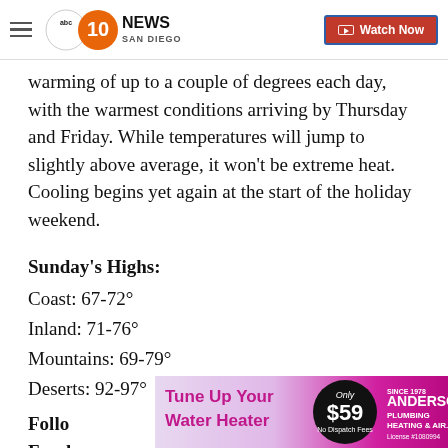10 News San Diego | Watch Now
warming of up to a couple of degrees each day, with the warmest conditions arriving by Thursday and Friday. While temperatures will jump to slightly above average, it won't be extreme heat. Cooling begins yet again at the start of the holiday weekend.
Sunday's Highs:
Coast: 67-72°
Inland: 71-76°
Mountains: 69-79°
Deserts: 92-97°
Follo... tti on Facel...
[Figure (advertisement): Tune Up Your Water Heater advertisement. Only $59, No Dispatch Fees. Anderson Plumbing Heating & Air. Pink and black color scheme.]